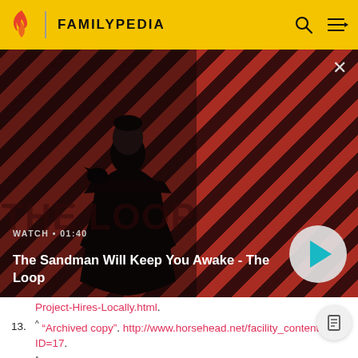FAMILYPEDIA
[Figure (screenshot): Video thumbnail showing a dark-cloaked figure with a raven on shoulder against a red diagonal striped background. Title reads 'The Sandman Will Keep You Awake - The Loop'. Watch duration 01:40. Play button visible.]
Project-Hires-Locally.html.
13. ^ "Archived copy". http://www.horsehead.net/facility_content.php?ID=17.
14. ^ Leip, David. "Dave Leip's Atlas of U.S. Presidential Elections". http://uselectionatlas.org/RESULTS